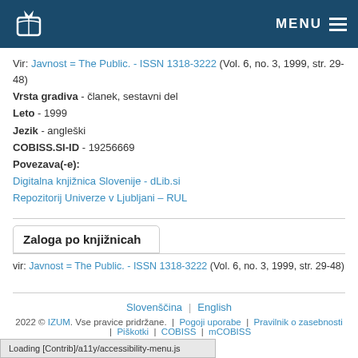MENU
Vir: Javnost = The Public. - ISSN 1318-3222 (Vol. 6, no. 3, 1999, str. 29-48)
Vrsta gradiva - članek, sestavni del
Leto - 1999
Jezik - angleški
COBISS.SI-ID - 19256669
Povezava(-e):
Digitalna knjižnica Slovenije - dLib.si
Repozitorij Univerze v Ljubljani – RUL
Zaloga po knjižnicah
vir: Javnost = The Public. - ISSN 1318-3222 (Vol. 6, no. 3, 1999, str. 29-48)
Slovenščina | English
2022 © IZUM. Vse pravice pridržane. | Pogoji uporabe | Pravilnik o zasebnosti | Piškotki | COBISS | mCOBISS
izd. 21.7.2022
Loading [Contrib]/a11y/accessibility-menu.js